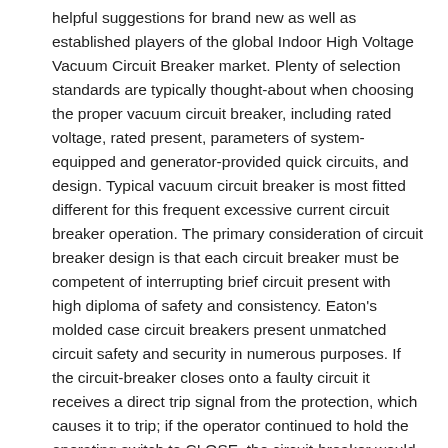helpful suggestions for brand new as well as established players of the global Indoor High Voltage Vacuum Circuit Breaker market. Plenty of selection standards are typically thought-about when choosing the proper vacuum circuit breaker, including rated voltage, rated present, parameters of system-equipped and generator-provided quick circuits, and design. Typical vacuum circuit breaker is most fitted different for this frequent excessive current circuit breaker operation. The primary consideration of circuit breaker design is that each circuit breaker must be competent of interrupting brief circuit present with high diploma of safety and consistency. Eaton's molded case circuit breakers present unmatched circuit safety and security in numerous purposes. If the circuit-breaker closes onto a faulty circuit it receives a direct trip signal from the protection, which causes it to trip; if the operator continued to hold the operating switch to CLOSE, the circuit-breaker would 'pump' out